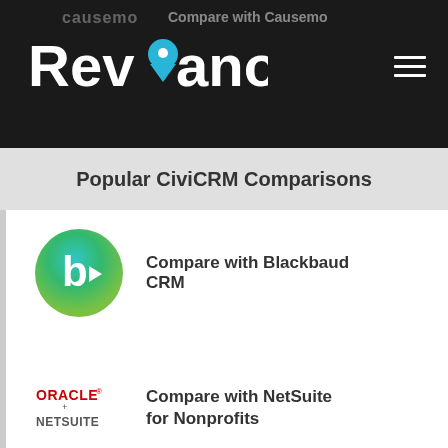Compare with Causemo
[Figure (logo): Reviano logo with location pin icon in white on dark background, with causemo watermark text]
Popular CiviCRM Comparisons
[Figure (logo): Blackbaud CRM logo - green circle with white letter b and play arrow]
Compare with Blackbaud CRM
[Figure (logo): Oracle + NetSuite logo in red and dark text]
Compare with NetSuite for Nonprofits